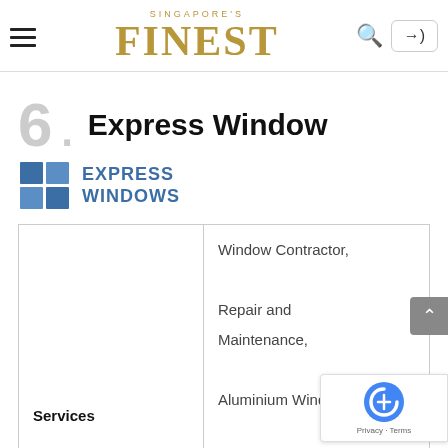Singapore's Finest
6. Express Window
[Figure (logo): Express Windows logo with blue Windows-style grid icon and blue text reading EXPRESS WINDOWS]
| Services | Window Contractor, Repair and Maintenance, Aluminium Windows, Window Grilles, Aluminium Doors, Shower Screens |
| Price Range |  |